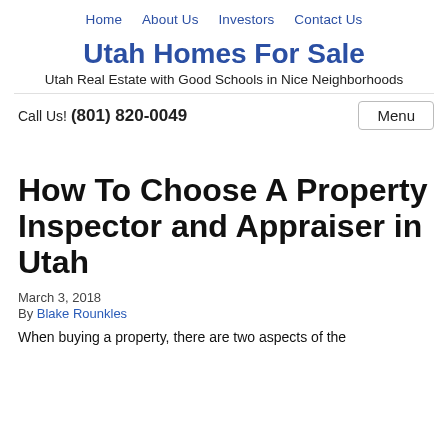Home   About Us   Investors   Contact Us
Utah Homes For Sale
Utah Real Estate with Good Schools in Nice Neighborhoods
Call Us! (801) 820-0049
How To Choose A Property Inspector and Appraiser in Utah
March 3, 2018
By Blake Rounkles
When buying a property, there are two aspects of the